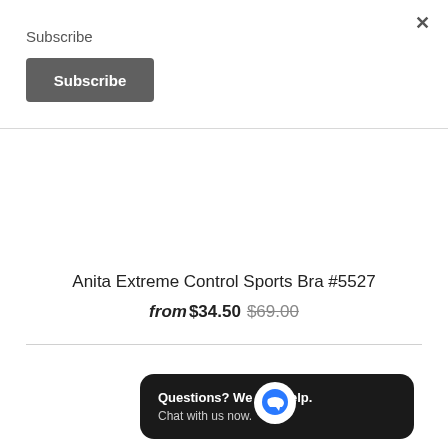×
Subscribe
Subscribe
Anita Extreme Control Sports Bra #5527
from $34.50 $69.00
Questions? We can help. Chat with us now.